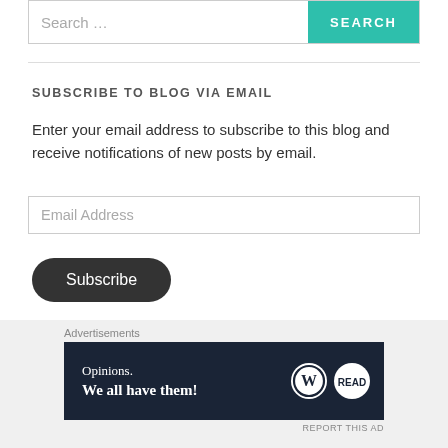[Figure (screenshot): Search bar with placeholder 'Search …' and a teal SEARCH button]
SUBSCRIBE TO BLOG VIA EMAIL
Enter your email address to subscribe to this blog and receive notifications of new posts by email.
[Figure (screenshot): Email Address input field]
[Figure (screenshot): Dark rounded Subscribe button]
Join 152 other subscribers
[Figure (screenshot): Advertisements section with WordPress 'Opinions. We all have them!' banner ad and close button]